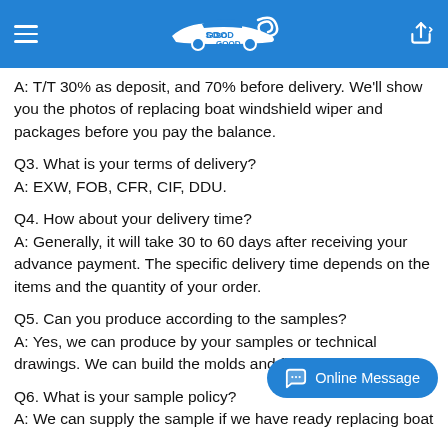So Good (logo)
A: T/T 30% as deposit, and 70% before delivery. We'll show you the photos of replacing boat windshield wiper and packages before you pay the balance.
Q3. What is your terms of delivery?
A: EXW, FOB, CFR, CIF, DDU.
Q4. How about your delivery time?
A: Generally, it will take 30 to 60 days after receiving your advance payment. The specific delivery time depends on the items and the quantity of your order.
Q5. Can you produce according to the samples?
A: Yes, we can produce by your samples or technical drawings. We can build the molds and fixtures.
Q6. What is your sample policy?
A: We can supply the sample if we have ready replacing boat windshield wiper in stock, but the customers have to pay the